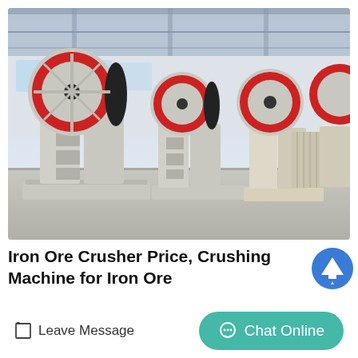[Figure (photo): Multiple industrial jaw crusher machines lined up in a factory warehouse. Machines are predominantly grey/off-white with large red and black flywheels on top. Factory floor with industrial ceiling visible in background.]
Iron Ore Crusher Price, Crushing Machine for Iron Ore
Leave Message
Chat Online